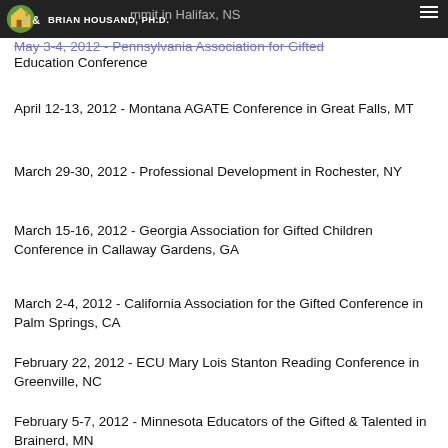Brian Housand, Ph.D.
May 3-4, 2012 - Nova Scotia Gifted Education Summit in Halifax, NS
May 3-4, 2012 - Pennsylvania Association for Gifted Education Conference
April 12-13, 2012 - Montana AGATE Conference in Great Falls, MT
March 29-30, 2012 - Professional Development in Rochester, NY
March 15-16, 2012 - Georgia Association for Gifted Children Conference in Callaway Gardens, GA
March 2-4, 2012 - California Association for the Gifted Conference in Palm Springs, CA
February 22, 2012 - ECU Mary Lois Stanton Reading Conference in Greenville, NC
February 5-7, 2012 - Minnesota Educators of the Gifted & Talented in Brainerd, MN
January 8-9, 2012 - Hawaii Gifted Education Conference in Honolulu, HI